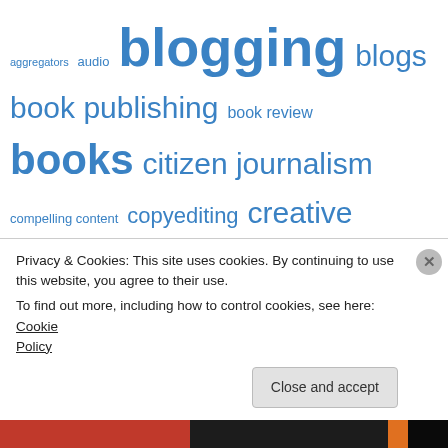[Figure (infographic): Tag cloud with topics related to blogging, editing, journalism, and writing. Terms displayed in varying sizes and shades of blue indicating frequency/importance. Terms include: aggregators, audio, blogging, blogs, book publishing, book review, books, citizen journalism, compelling content, copyediting, creative nonfiction, crowdsourcing, day job, diary, digital media, digital storytelling, e-books, editing, editing links, editor, editors, entrepreneurship, feed me, freelance, freelance success, freelance writing, freelancing, inspiration, interview, interviews, journaling, journalism, journalism education, journalists, lifestreaming, links, make the editor your friend, memoir, microblogging, mobile phones, multimedia, narrative nonfiction, new media, newspapers, non-fiction, story-crafting]
Privacy & Cookies: This site uses cookies. By continuing to use this website, you agree to their use.
To find out more, including how to control cookies, see here: Cookie Policy